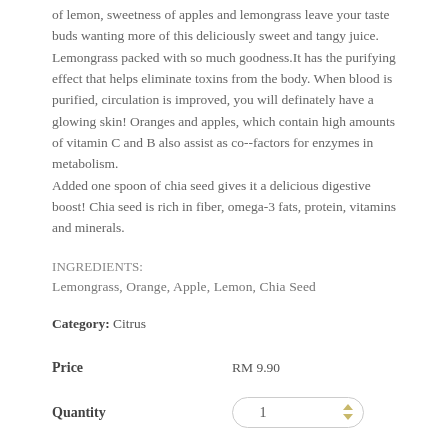of lemon, sweetness of apples and lemongrass leave your taste buds wanting more of this deliciously sweet and tangy juice. Lemongrass packed with so much goodness.It has the purifying effect that helps eliminate toxins from the body. When blood is purified, circulation is improved, you will definately have a glowing skin! Oranges and apples, which contain high amounts of vitamin C and B also assist as co--factors for enzymes in metabolism. Added one spoon of chia seed gives it a delicious digestive boost! Chia seed is rich in fiber, omega-3 fats, protein, vitamins and minerals.
INGREDIENTS:
Lemongrass, Orange, Apple, Lemon, Chia Seed
Category: Citrus
Price   RM 9.90
Quantity   1